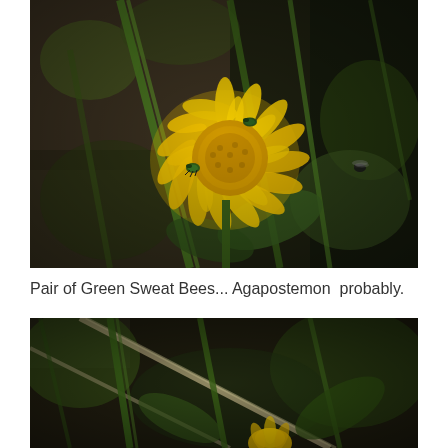[Figure (photo): Close-up nature photograph showing a bright yellow dandelion-like flower with two small dark metallic green sweat bees (Agapostemon) on its petals, surrounded by green grass blades and leaves on a dark blurred background. A third small bee is visible flying to the right.]
Pair of Green Sweat Bees... Agapostemon  probably.
[Figure (photo): Partial close-up nature photograph (cropped at bottom) showing green grass blades, stems, and a partially visible yellow flower bud at the bottom, with a blurred dark background of leaves and soil.]